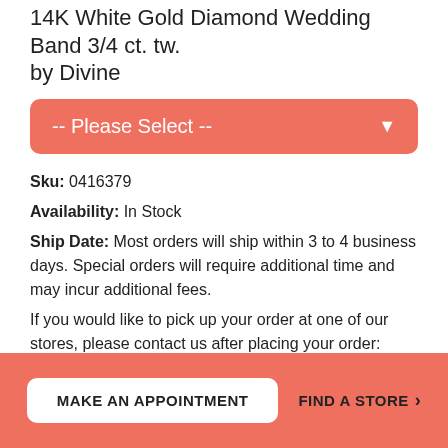14K White Gold Diamond Wedding Band 3/4 ct. tw. by Divine
-- Please Select --
Sku: 0416379
Availability: In Stock
Ship Date: Most orders will ship within 3 to 4 business days. Special orders will require additional time and may incur additional fees.
If you would like to pick up your order at one of our stores, please contact us after placing your order:
RingCenter@robbinsbrothers.com or call 800-295-1543
MAKE AN APPOINTMENT
FIND A STORE >